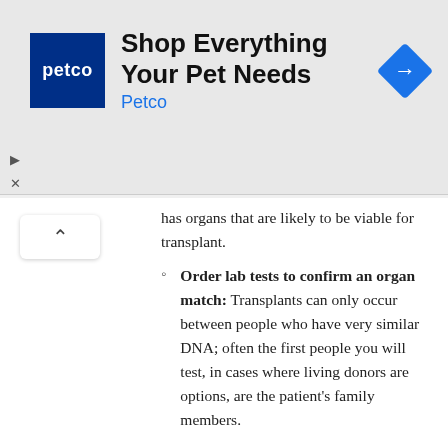[Figure (other): Petco advertisement banner with logo, 'Shop Everything Your Pet Needs' heading, 'Petco' subtext in blue, and a blue diamond navigation icon]
has organs that are likely to be viable for transplant.
Order lab tests to confirm an organ match: Transplants can only occur between people who have very similar DNA; often the first people you will test, in cases where living donors are options, are the patient’s family members.
Clear patients and donors for surgery: It will be your responsibility to ensure that both patients and donors are in a physical and emotional state suitable for the transplant to occur.
Monitor patients’ vital signs after surgery: Transplanted organs can be rejected by the body and the time immediately after surgery is critical in